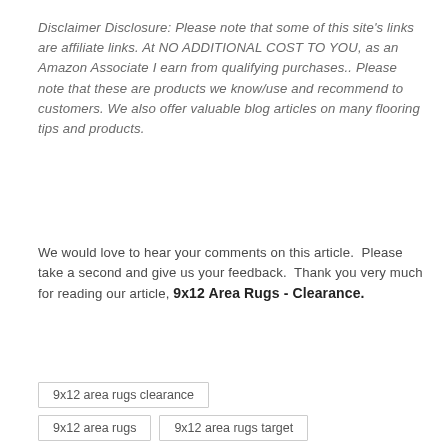Disclaimer Disclosure: Please note that some of this site's links are affiliate links. At NO ADDITIONAL COST TO YOU, as an Amazon Associate I earn from qualifying purchases.. Please note that these are products we know/use and recommend to customers. We also offer valuable blog articles on many flooring tips and products.
We would love to hear your comments on this article.  Please take a second and give us your feedback.  Thank you very much for reading our article, 9x12 Area Rugs - Clearance.
9x12 area rugs clearance
9x12 area rugs
9x12 area rugs target